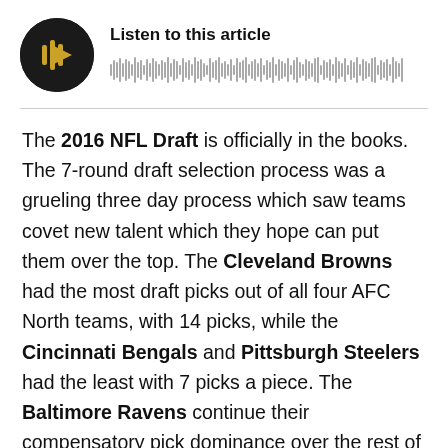[Figure (other): Audio player widget with circular black play button showing a gold play icon and waveform visualization bar. Title reads 'Listen to this article'.]
The 2016 NFL Draft is officially in the books. The 7-round draft selection process was a grueling three day process which saw teams covet new talent which they hope can put them over the top. The Cleveland Browns had the most draft picks out of all four AFC North teams, with 14 picks, while the Cincinnati Bengals and Pittsburgh Steelers had the least with 7 picks a piece. The Baltimore Ravens continue their compensatory pick dominance over the rest of the NFL and were able to collect 11 draft picks over the weekend process.